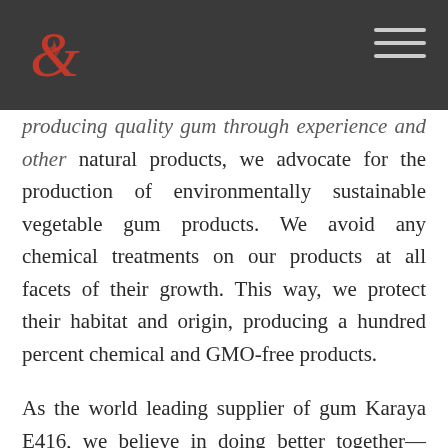[logo and navigation bar]
producing quality gum through experience and other natural products, we advocate for the production of environmentally sustainable vegetable gum products. We avoid any chemical treatments on our products at all facets of their growth. This way, we protect their habitat and origin, producing a hundred percent chemical and GMO-free products.
As the world leading supplier of gum Karaya E416, we believe in doing better together—teamwork. As such, we appreciate local community involvement, which gives us a clear image of our origin product, history, growth…